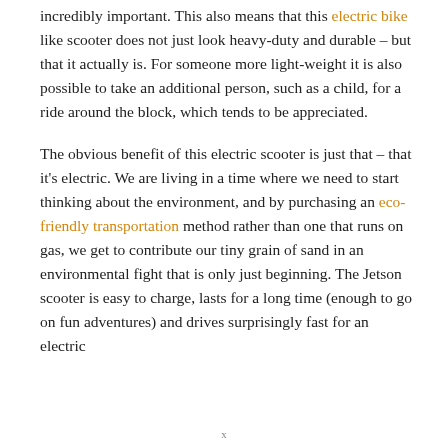incredibly important. This also means that this electric bike like scooter does not just look heavy-duty and durable – but that it actually is. For someone more light-weight it is also possible to take an additional person, such as a child, for a ride around the block, which tends to be appreciated.
The obvious benefit of this electric scooter is just that – that it's electric. We are living in a time where we need to start thinking about the environment, and by purchasing an eco-friendly transportation method rather than one that runs on gas, we get to contribute our tiny grain of sand in an environmental fight that is only just beginning. The Jetson scooter is easy to charge, lasts for a long time (enough to go on fun adventures) and drives surprisingly fast for an electric
x